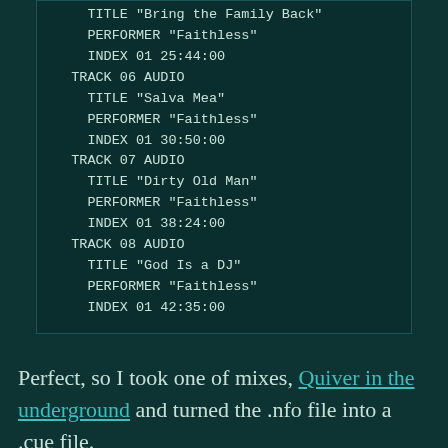TITLE "Bring the Family Back"
    PERFORMER "Faithless"
    INDEX 01 25:44:00
  TRACK 06 AUDIO
    TITLE "Salva Mea"
    PERFORMER "Faithless"
    INDEX 01 30:50:00
  TRACK 07 AUDIO
    TITLE "Dirty Old Man"
    PERFORMER "Faithless"
    INDEX 01 38:24:00
  TRACK 08 AUDIO
    TITLE "God Is a DJ"
    PERFORMER "Faithless"
    INDEX 01 42:35:00
Perfect, so I took one of mixes, Quiver in the underground and turned the .nfo file into a .cue file.